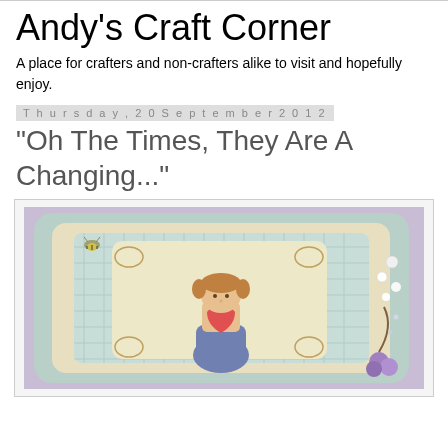Andy's Craft Corner
A place for crafters and non-crafters alike to visit and hopefully enjoy.
Thursday, 20 September 2012
"Oh The Times, They Are A Changing..."
[Figure (photo): A handmade craft card featuring a Tilda-style stamped girl figure with pigtails hugging a red heart, set against decorative die-cut layers in pale blue and cream/gold lattice patterns, with floral embellishments including white and purple flowers on the right side and a small bee charm in the upper left.]